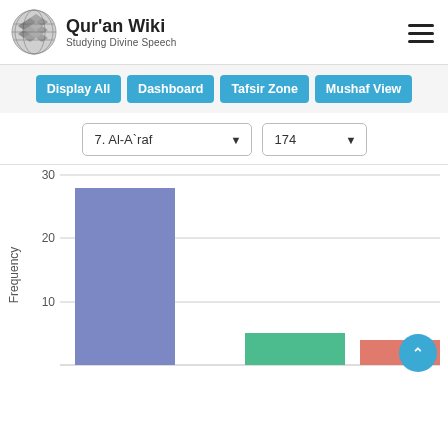[Figure (logo): Quran Wiki globe logo with grid pattern]
Qur'an Wiki
Studying Divine Speech
[Figure (infographic): Hamburger menu icon (three horizontal lines)]
Display All | Dashboard | Tafsir Zone | Mushaf View
7. Al-A`raf (dropdown), 174 (dropdown)
[Figure (bar-chart): Bar chart showing frequency values. First bar (blue/slate) reaches approximately 28, second bar (green/teal) reaches approximately 5, third bar (salmon/red) reaches approximately 4. Y-axis shows values 10, 20, 30.]